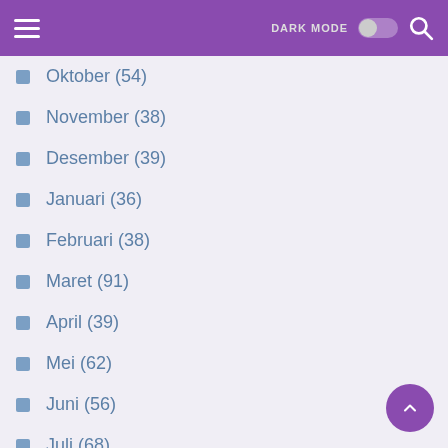≡  DARK MODE  🔍
Oktober (54)
November (38)
Desember (39)
Januari (36)
Februari (38)
Maret (91)
April (39)
Mei (62)
Juni (56)
Juli (68)
Agustus (46)
Juli (22)
Agustus (14)